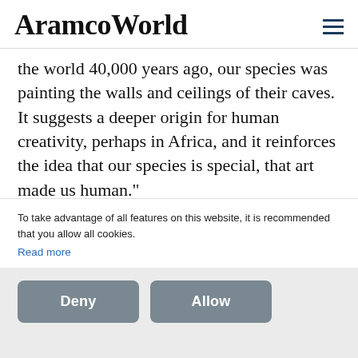AramcoWorld
the world 40,000 years ago, our species was painting the walls and ceilings of their caves. It suggests a deeper origin for human creativity, perhaps in Africa, and it reinforces the idea that our species is special, that art made us human.”
This is uniquely pleasing in Indonesia, says Hakim. “All this time Europe was known to have the oldest rock art paintings. Now the
To take advantage of all features on this website, it is recommended that you allow all cookies.
Read more
Deny
Allow